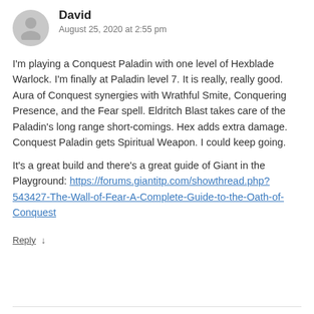David
August 25, 2020 at 2:55 pm
I'm playing a Conquest Paladin with one level of Hexblade Warlock. I'm finally at Paladin level 7. It is really, really good. Aura of Conquest synergies with Wrathful Smite, Conquering Presence, and the Fear spell. Eldritch Blast takes care of the Paladin's long range short-comings. Hex adds extra damage. Conquest Paladin gets Spiritual Weapon. I could keep going.
It's a great build and there's a great guide of Giant in the Playground: https://forums.giantitp.com/showthread.php?543427-The-Wall-of-Fear-A-Complete-Guide-to-the-Oath-of-Conquest
Reply ↓